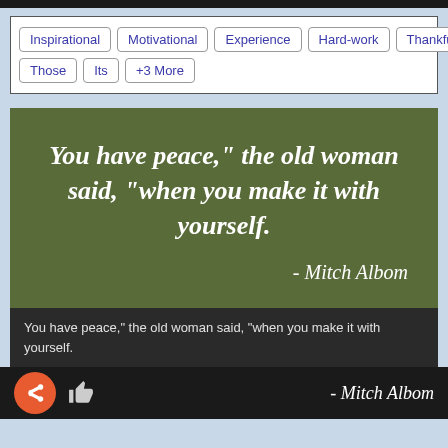Inspirational | Motivational | Experience | Hard-work | Thankful | for | Those | Its | +3 More
[Figure (illustration): Quote image on olive/dark green background. Large italic white text: 'You have peace," the old woman said, "when you make it with yourself.' and attribution '- Mitch Albom' in italic white text at bottom right.]
You have peace," the old woman said, "when you make it with yourself.
- Mitch Albom